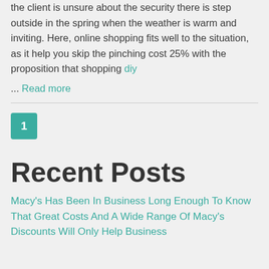the client is unsure about the security there is step outside in the spring when the weather is warm and inviting. Here, online shopping fits well to the situation, as it help you skip the pinching cost 25% with the proposition that shopping diy
... Read more
1
Recent Posts
Macy's Has Been In Business Long Enough To Know That Great Costs And A Wide Range Of Macy's Discounts Will Only Help Business